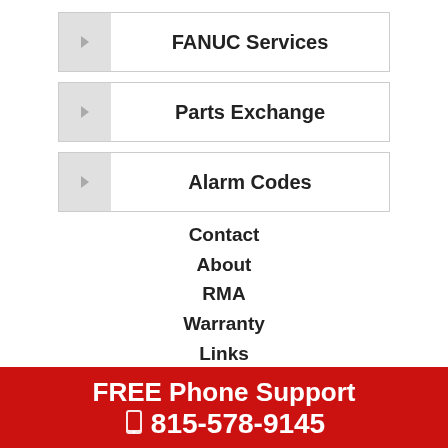FANUC Services
Parts Exchange
Alarm Codes
Contact
About
RMA
Warranty
Links
News
Glossary
FREE Phone Support
☎ 815-578-9145
© C... rserved